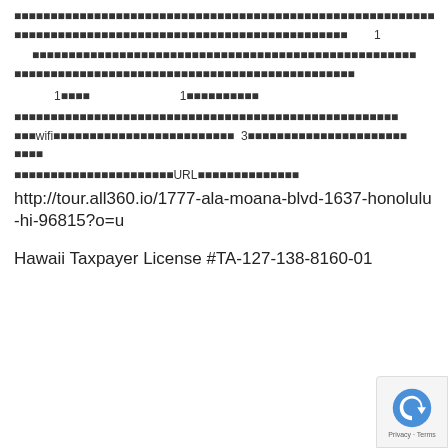■■■■■■■■■■■■■■■■■■■■■■■■■■■■■■■■■■■■■■■■■■■■■■■■■■■■■■■■■■
■■■■■■■■■■■■■■■■■■■■■■■■■■■■■■■■■■■■■■■■■■■■■■　　　　1
■■■■■■■■■■■■■■■■■■■■■■■■■■■■■■■■■■■■■■■■■■■■■■■■■■■■
■■■■■■■■■■■■■■■■■■■■■■■■■■■■■■■■■■■■■■■■■■■■■■■
1■■■■　　　　　　　　　　　　　　　　1■■■■■■■■■■
■■■■■■■■■■■■■■■■■■■■■■■■■■■■■■■■■■■■■■■■■■■■■■■■■■■■■
■■■wifi■■■■■■■■■■■■■■■■■■■■■■■■■■　3■■■■■■■■■■■■■■■■■■■■■■
■■■■■■■■■■■■■■■■■■■■■■URL■■■■■■■■■■■■■■
http://tour.all360.io/1777-ala-moana-blvd-1637-honolulu-hi-96815?o=u
Hawaii Taxpayer License #TA-127-138-8160-01